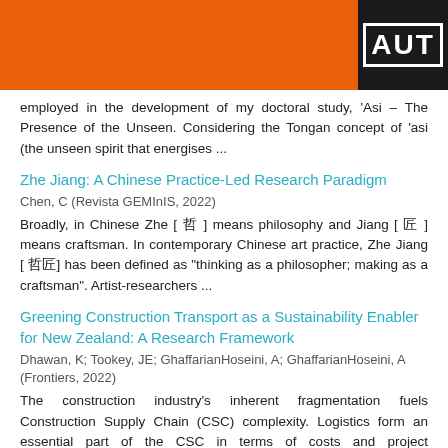AUT
employed in the development of my doctoral study, 'Asi – The Presence of the Unseen. Considering the Tongan concept of 'asi (the unseen spirit that energises ...
Zhe Jiang: A Chinese Practice-Led Research Paradigm
Chen, C (Revista GEMInIS, 2022)
Broadly, in Chinese Zhe [ 哲 ] means philosophy and Jiang [ 匠 ] means craftsman. In contemporary Chinese art practice, Zhe Jiang [ 哲匠] has been defined as "thinking as a philosopher; making as a craftsman". Artist-researchers ...
Greening Construction Transport as a Sustainability Enabler for New Zealand: A Research Framework
Dhawan, K; Tookey, JE; GhaffarianHoseini, A; GhaffarianHoseini, A (Frontiers, 2022)
The construction industry's inherent fragmentation fuels Construction Supply Chain (CSC) complexity. Logistics form an essential part of the CSC in terms of costs and project management. In turn, transportation accounts ...
TCR-LoRaD: A Loss Recovery and Differentiation